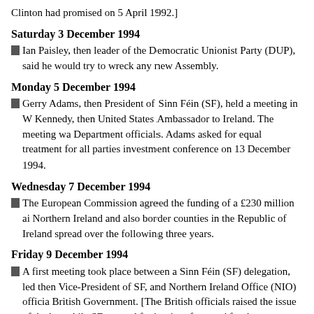Clinton had promised on 5 April 1992.]
Saturday 3 December 1994
Ian Paisley, then leader of the Democratic Unionist Party (DUP), said he would try to wreck any new Assembly.
Monday 5 December 1994
Gerry Adams, then President of Sinn Féin (SF), held a meeting in Washington with Jean Kennedy, then United States Ambassador to Ireland. The meeting was also attended by State Department officials. Adams asked for equal treatment for all parties in advance of the investment conference on 13 December 1994.
Wednesday 7 December 1994
The European Commission agreed the funding of a £230 million aid package for Northern Ireland and also border counties in the Republic of Ireland. The funding was to be spread over the following three years.
Friday 9 December 1994
A first meeting took place between a Sinn Féin (SF) delegation, led by Martin McGuinness, then Vice-President of SF, and Northern Ireland Office (NIO) officials representing the British Government. [The British officials raised the issue of the hand-over of IRA weapons while SF pressed for 'parity of esteem' for the party. This was the first meeting between SF and British officials for over 20 years.]
Sunday 11 December 1994
Gary McMichael, then leader of the Ulster Democratic Party (UDP)...